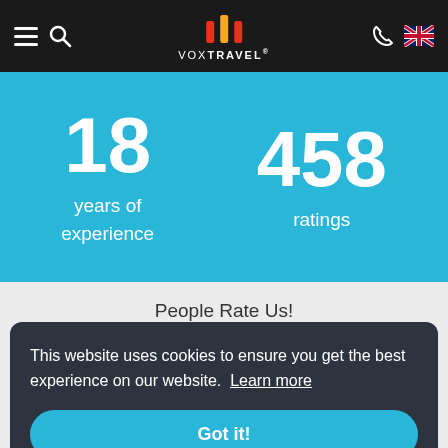VOX TRAVEL navigation bar with logo, menu, search, phone and UK flag
18 years of experience
458 ratings
People Rate Us!
This website uses cookies to ensure you get the best experience on our website.  Learn more
Got it!
Paul Ford
us- good activities and a reasonable